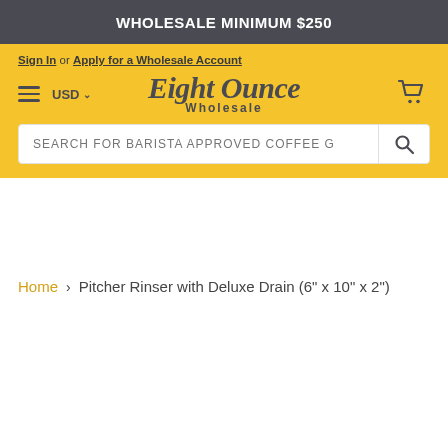WHOLESALE MINIMUM $250
Sign In or Apply for a Wholesale Account
[Figure (logo): Eight Ounce Wholesale logo in script font]
SEARCH FOR BARISTA APPROVED COFFEE G
Home > Pitcher Rinser with Deluxe Drain (6" x 10" x 2")